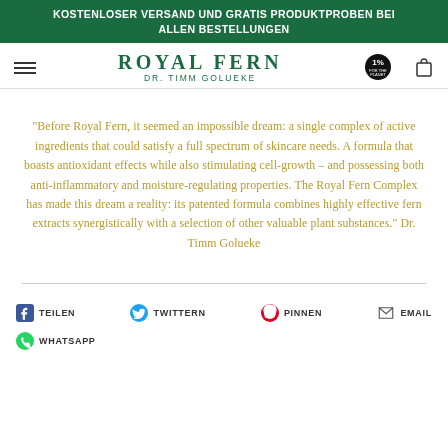KOSTENLOSER VERSAND UND GRATIS PRODUKTPROBEN BEI ALLEN BESTELLUNGEN
ROYAL FERN
DR. TIMM GOLUEKE
“Before Royal Fern, it seemed an impossible dream: a single complex of active ingredients that could satisfy a full spectrum of skincare needs. A formula that boasts antioxidant effects while also stimulating cell-growth – and possessing both anti-inflammatory and moisture-regulating properties. The Royal Fern Complex has made this dream a reality: its patented formula combines highly effective fern extracts synergistically with a selection of other valuable plant substances.” Dr. Timm Golueke
TEILEN
TWITTERN
PINNEN
EMAIL
WHATSAPP